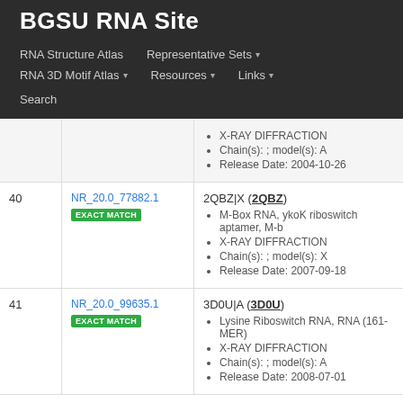BGSU RNA Site
RNA Structure Atlas | Representative Sets ▾ | RNA 3D Motif Atlas ▾ | Resources ▾ | Links ▾ | Search
| # | ID | Info |
| --- | --- | --- |
|  |  | X-RAY DIFFRACTION
Chain(s): ; model(s): A
Release Date: 2004-10-26 |
| 40 | NR_20.0_77882.1 EXACT MATCH | 2QBZ|X (2QBZ)
M-Box RNA, ykoK riboswitch aptamer, M-b...
X-RAY DIFFRACTION
Chain(s): ; model(s): X
Release Date: 2007-09-18 |
| 41 | NR_20.0_99635.1 EXACT MATCH | 3D0U|A (3D0U)
Lysine Riboswitch RNA, RNA (161-MER)
X-RAY DIFFRACTION
Chain(s): ; model(s): A
Release Date: 2008-07-01 |